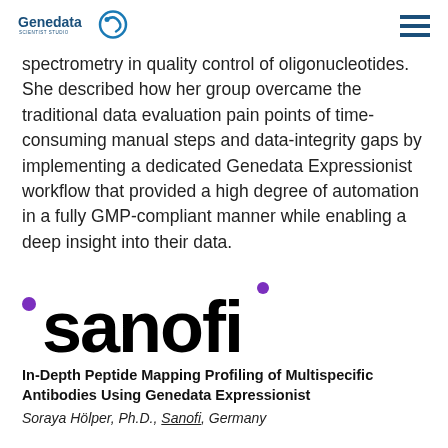Genedata [logo] [hamburger menu]
spectrometry in quality control of oligonucleotides. She described how her group overcame the traditional data evaluation pain points of time-consuming manual steps and data-integrity gaps by implementing a dedicated Genedata Expressionist workflow that provided a high degree of automation in a fully GMP-compliant manner while enabling a deep insight into their data.
[Figure (logo): Sanofi company logo in large bold black text with a purple dot accent]
In-Depth Peptide Mapping Profiling of Multispecific Antibodies Using Genedata Expressionist
Soraya Hölper, Ph.D., Sanofi, Germany